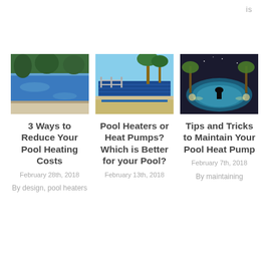is
[Figure (photo): Outdoor swimming pool with blue water and pool deck in daylight]
3 Ways to Reduce Your Pool Heating Costs
February 28th, 2018
By design, pool heaters
[Figure (photo): Swimming pool with a solar cover/blanket rolled out over it under blue sky]
Pool Heaters or Heat Pumps? Which is Better for your Pool?
February 13th, 2018
[Figure (photo): Nighttime swimming pool with illuminated blue water and palm trees in background, person silhouette visible]
Tips and Tricks to Maintain Your Pool Heat Pump
February 7th, 2018
By maintaining